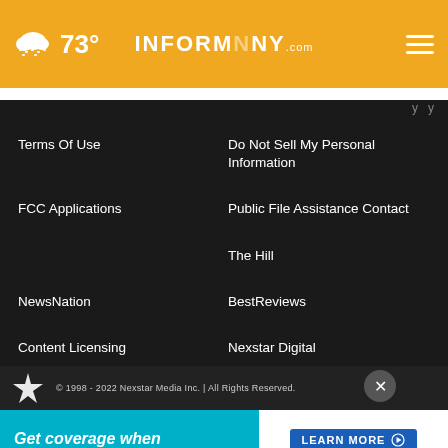73° InformNNY.com
Terms Of Use
Do Not Sell My Personal Information
FCC Applications
Public File Assistance Contact
The Hill
NewsNation
BestReviews
Content Licensing
Nexstar Digital
© 1998 - 2022 Nexstar Media Inc. | All Rights Reserved.
[Figure (other): HealthCare.gov advertisement banner: 'Get coverage when life changes.' with LEARN MORE button]